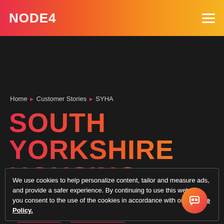NODE4
Home ▶ Customer Stories ▶ SYHA
SOUTH YORKSHIRE HOUSING
We use cookies to help personalize content, tailor and measure ads, and provide a safer experience. By continuing to use this website you consent to the use of the cookies in accordance with our Cookie Policy.
ACCEPT
MORE INFO